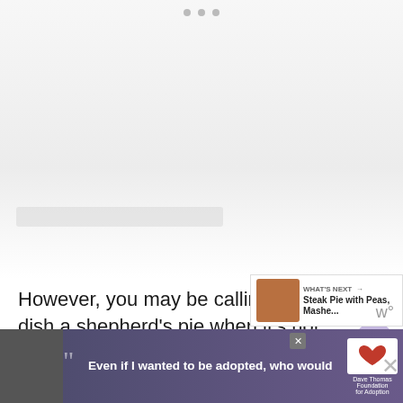[Figure (photo): Faded top image area (likely a food photo, mostly white/faded out), with pagination dots at the top]
However, you may be calling your dish a shepherd's pie when it's not. Do you know about cottage pie?
NB: I have disabled commenting on this recipe due to an inordinate number of spam comments everyday. If you...recipe...
[Figure (screenshot): What's Next panel showing a food photo thumbnail with text 'WHAT'S NEXT → Steak Pie with Peas, Mashe...']
[Figure (screenshot): Advertisement banner overlay: black-and-white photo of a woman, quote marks, text 'Even if I wanted to be adopted, who would', Dave Thomas Foundation for Adoption logo, close button]